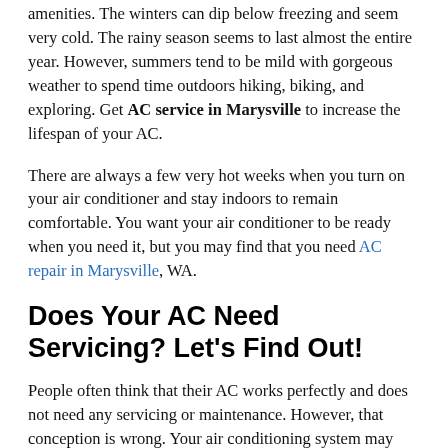amenities. The winters can dip below freezing and seem very cold. The rainy season seems to last almost the entire year. However, summers tend to be mild with gorgeous weather to spend time outdoors hiking, biking, and exploring. Get AC service in Marysville to increase the lifespan of your AC.
There are always a few very hot weeks when you turn on your air conditioner and stay indoors to remain comfortable. You want your air conditioner to be ready when you need it, but you may find that you need AC repair in Marysville, WA.
Does Your AC Need Servicing? Let's Find Out!
People often think that their AC works perfectly and does not need any servicing or maintenance. However, that conception is wrong. Your air conditioning system may look perfectly well from the outside, but you do not know what is happening or building inside the unit.
So let's check out whether your system is healthy or not. These are the signs that show your system requires a maintenance AC